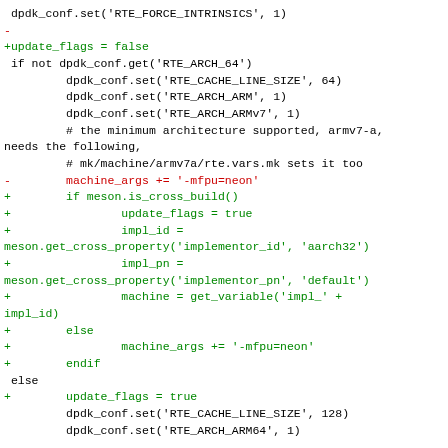dpdk_conf.set('RTE_FORCE_INTRINSICS', 1)
-
+update_flags = false
 if not dpdk_conf.get('RTE_ARCH_64')
         dpdk_conf.set('RTE_CACHE_LINE_SIZE', 64)
         dpdk_conf.set('RTE_ARCH_ARM', 1)
         dpdk_conf.set('RTE_ARCH_ARMv7', 1)
         # the minimum architecture supported, armv7-a,
needs the following,
         # mk/machine/armv7a/rte.vars.mk sets it too
-        machine_args += '-mfpu=neon'
+        if meson.is_cross_build()
+                update_flags = true
+                impl_id =
meson.get_cross_property('implementor_id', 'aarch32')
+                impl_pn =
meson.get_cross_property('implementor_pn', 'default')
+                machine = get_variable('impl_' +
impl_id)
+        else
+                machine_args += '-mfpu=neon'
+        endif
 else
+        update_flags = true
         dpdk_conf.set('RTE_CACHE_LINE_SIZE', 128)
         dpdk_conf.set('RTE_ARCH_ARM64', 1)

@@ -172,7 +186,9 @@ else
                 impl_pn =